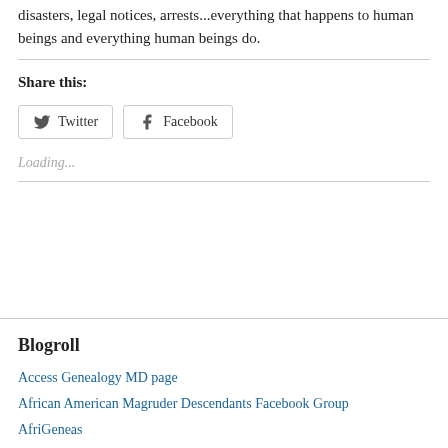disasters, legal notices, arrests...everything that happens to human beings and everything human beings do.
Share this:
[Figure (other): Share buttons for Twitter and Facebook]
Loading...
Blogroll
Access Genealogy MD page
African American Magruder Descendants Facebook Group
AfriGeneas